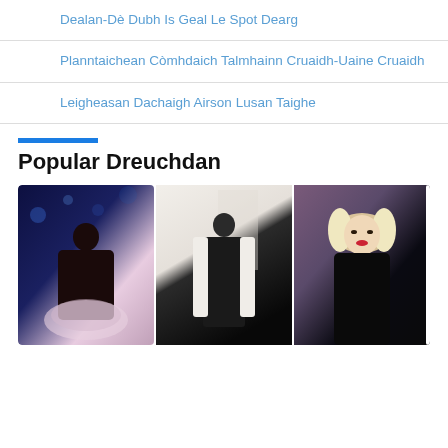Dealan-Dè Dubh Is Geal Le Spot Dearg
Planntaichean Còmhdaich Talmhainn Cruaidh-Uaine Cruaidh
Leigheasan Dachaigh Airson Lusan Taighe
Popular Dreuchdan
[Figure (photo): Three fashion photos of women side by side: left shows a woman in a blue-lit setting wearing a pink tulle dress, center shows a woman in a black dress with a white coat in a white setting, right shows a blonde woman with vintage styling against a purple background.]